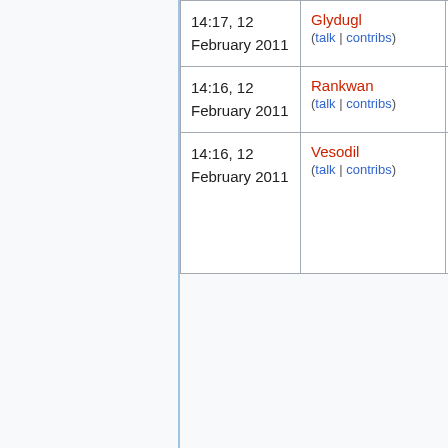| Date | User | Duration | Admin |
| --- | --- | --- | --- |
| 14:17, 12 February 2011 | Glydugl (talk | contribs) | infinite | The (talk |
| 14:16, 12 February 2011 | Rankwan (talk | contribs) | infinite | The (talk |
| 14:16, 12 February 2011 | Vesodil (talk | contribs) | infinite | The (talk |